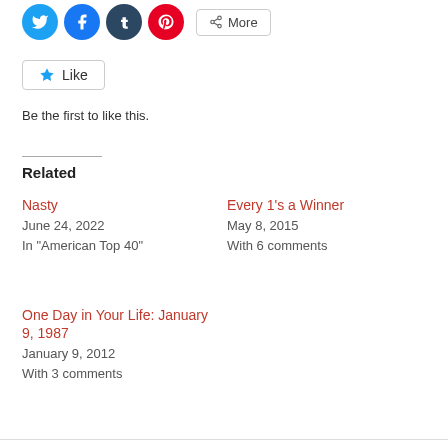[Figure (other): Social share buttons: Twitter, Facebook, Tumblr, Pinterest circle icons and a More button]
[Figure (other): Like button with star icon]
Be the first to like this.
Related
Nasty
June 24, 2022
In "American Top 40"
Every 1's a Winner
May 8, 2015
With 6 comments
One Day in Your Life: January 9, 1987
January 9, 2012
With 3 comments